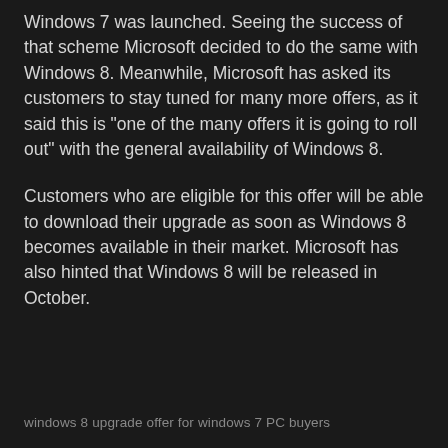Windows 7 was launched. Seeing the success of that scheme Microsoft decided to do the same with Windows 8. Meanwhile, Microsoft has asked its customers to stay tuned for many more offers, as it said this is "one of the many offers it is going to roll out" with the general availability of Windows 8.
Customers who are eligible for this offer will be able to download their upgrade as soon as Windows 8 becomes available in their market. Microsoft has also hinted that Windows 8 will be released in October.
windows 8 upgrade offer for windows 7 PC buyers